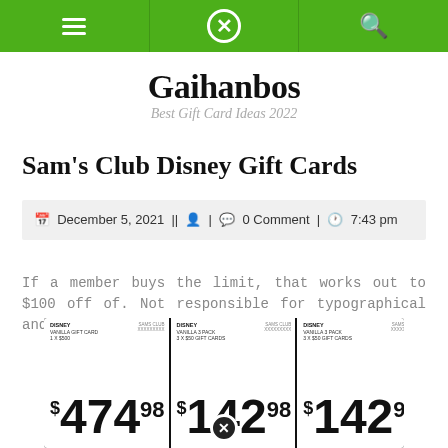Navigation bar with hamburger menu, close button, and search icon on green background
Gaihanbos
Best Gift Card Ideas 2022
Sam's Club Disney Gift Cards
December 5, 2021 || | 0 Comment | 7:43 pm
If a member buys the limit, that works out to $100 off of. Not responsible for typographical and.
[Figure (photo): Photo of Disney gift card price signs at Sam's Club showing prices: $474.98, $142.98, $142.98, $142.98]